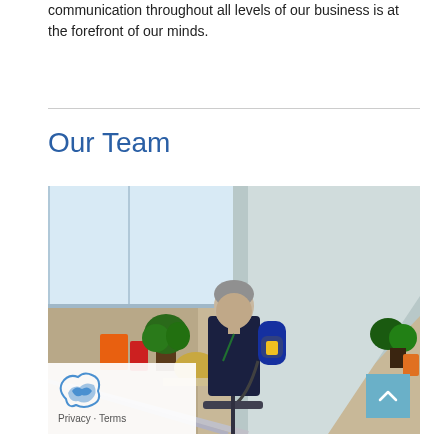communication throughout all levels of our business is at the forefront of our minds.
Our Team
[Figure (photo): A cleaning worker in dark uniform using a floor cleaning machine on stairs/escalator area in a modern office building with large windows, plants, and colorful furniture in the background. Worker has a backpack vacuum.]
Privacy · Terms